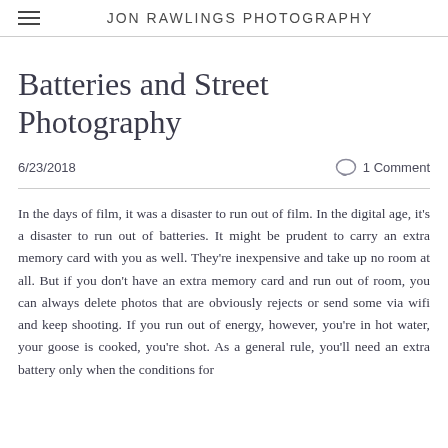JON RAWLINGS PHOTOGRAPHY
Batteries and Street Photography
6/23/2018
1 Comment
In the days of film, it was a disaster to run out of film. In the digital age, it's a disaster to run out of batteries. It might be prudent to carry an extra memory card with you as well. They're inexpensive and take up no room at all. But if you don't have an extra memory card and run out of room, you can always delete photos that are obviously rejects or send some via wifi and keep shooting. If you run out of energy, however, you're in hot water, your goose is cooked, you're shot. As a general rule, you'll need an extra battery only when the conditions for